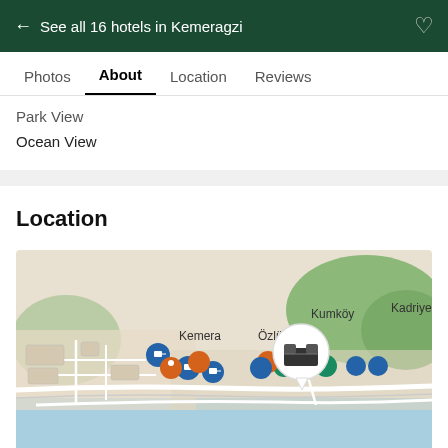← See all 16 hotels in Kemeragzi
Photos  About  Location  Reviews
Park View
Ocean View
Location
[Figure (map): Google map showing hotel locations along the coast near Kemeragzi, with pins for hotels in blue, orange, and green. Location labels visible: Kemera, Özlü, Kumköy, Kadriye. A large white selected hotel pin with bed icon is shown prominently. Map data ©2022.]